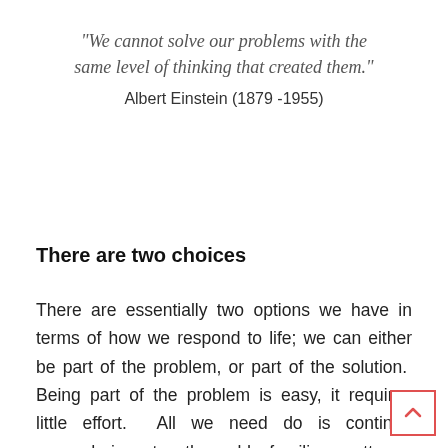“We cannot solve our problems with the same level of thinking that created them.”
Albert Einstein (1879 -1955)
There are two choices
There are essentially two options we have in terms of how we respond to life; we can either be part of the problem, or part of the solution.  Being part of the problem is easy, it requires little effort.  All we need do is continue surrendering to the old familiar patterns, continuing to be victims of our